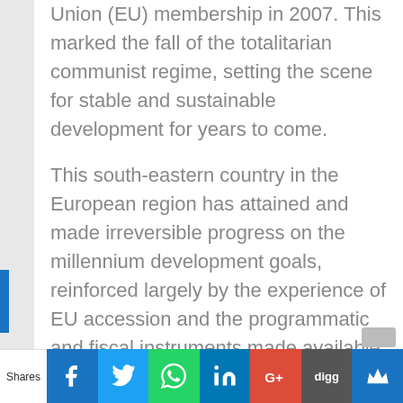Union (EU) membership in 2007. This marked the fall of the totalitarian communist regime, setting the scene for stable and sustainable development for years to come.
This south-eastern country in the European region has attained and made irreversible progress on the millennium development goals, reinforced largely by the experience of EU accession and the programmatic and fiscal instruments made available to Romania via this political, social, and economic